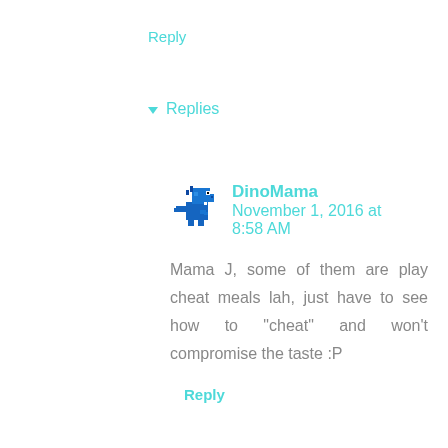Reply
▾ Replies
[Figure (illustration): Pixel art blue dinosaur avatar for user DinoMama]
DinoMama   November 1, 2016 at 8:58 AM
Mama J, some of them are play cheat meals lah, just have to see how to "cheat" and won't compromise the taste :P
Reply